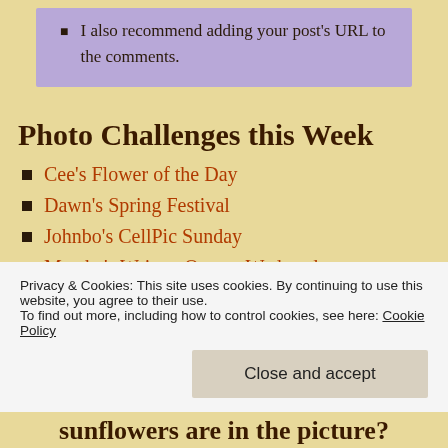I also recommend adding your post's URL to the comments.
Photo Challenges this Week
Cee's Flower of the Day
Dawn's Spring Festival
Johnbo's CellPic Sunday
Marsha's Writers Quotes Wednesday:
Privacy & Cookies: This site uses cookies. By continuing to use this website, you agree to their use.
To find out more, including how to control cookies, see here: Cookie Policy
Close and accept
sunflowers are in the picture?